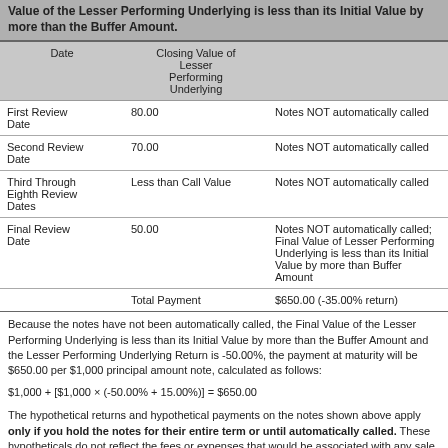Value of the Lesser Performing Underlying is less than its Initial Value by more than the Buffer Amount.
| Date | Closing Value of Lesser Performing Underlying |  |
| --- | --- | --- |
| First Review Date | 80.00 | Notes NOT automatically called |
| Second Review Date | 70.00 | Notes NOT automatically called |
| Third Through Eighth Review Dates | Less than Call Value | Notes NOT automatically called |
| Final Review Date | 50.00 | Notes NOT automatically called; Final Value of Lesser Performing Underlying is less than its Initial Value by more than Buffer Amount |
|  | Total Payment | $650.00 (-35.00% return) |
Because the notes have not been automatically called, the Final Value of the Lesser Performing Underlying is less than its Initial Value by more than the Buffer Amount and the Lesser Performing Underlying Return is -50.00%, the payment at maturity will be $650.00 per $1,000 principal amount note, calculated as follows:
The hypothetical returns and hypothetical payments on the notes shown above apply only if you hold the notes for their entire term or until automatically called. These hypotheticals do not reflect the fees or expenses that would be associated with any sale in the secondary market. If these fees and expenses